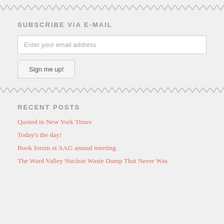SUBSCRIBE VIA E-MAIL
Enter your email address
Sign me up!
RECENT POSTS
Quoted in New York Times
Today's the day!
Book forum at AAG annual meeting
The Ward Valley Nuclear Waste Dump That Never Was